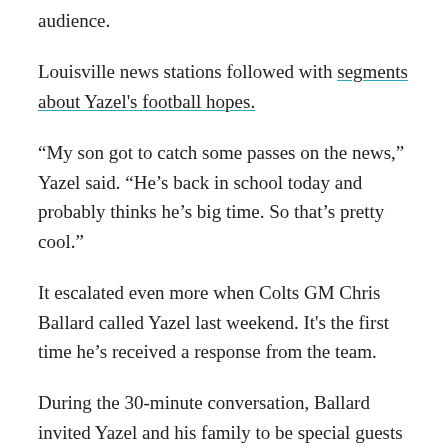audience.
Louisville news stations followed with segments about Yazel's football hopes.
“My son got to catch some passes on the news,” Yazel said. “He’s back in school today and probably thinks he’s big time. So that’s pretty cool.”
It escalated even more when Colts GM Chris Ballard called Yazel last weekend. It's the first time he’s received a response from the team.
During the 30-minute conversation, Ballard invited Yazel and his family to be special guests at a game this fall, where they’ll be allowed to walk around the field during warmups.
Yazel said he almost “fell out of his chair” when he got the call.